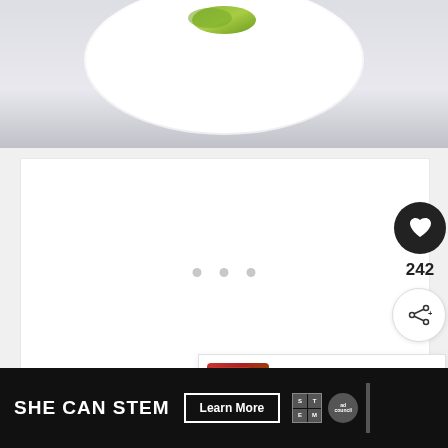[Figure (photo): Top of page showing a white bowl with green garnish (lime/herb) on a light gray/purple background, partially cropped]
[Figure (screenshot): Main white card area with three loading dots (gray circles) in the center, indicating content loading]
[Figure (infographic): Dark circular heart/like button with count 242 below it, and a share button (circle with share icon) below that on the right side]
242
[Figure (infographic): What's Next panel with arrow, thumbnail of Instant Pot recipe image, and text 'WHAT'S NEXT → Instant Pot Recipes to...']
WHAT'S NEXT → Instant Pot Recipes to...
[Figure (infographic): Bottom black advertisement banner: SHE CAN STEM Learn More button, STEM logo grid, Ad Council badge]